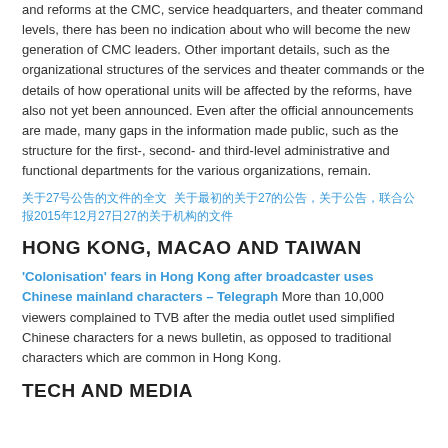and reforms at the CMC, service headquarters, and theater command levels, there has been no indication about who will become the new generation of CMC leaders. Other important details, such as the organizational structures of the services and theater commands or the details of how operational units will be affected by the reforms, have also not yet been announced. Even after the official announcements are made, many gaps in the information made public, such as the structure for the first-, second- and third-level administrative and functional departments for the various organizations, remain.
关于27号公告的文件的全文 关于最初的关于27的公告，关于公告，联合公报2015年12月27日27的关于机构的文件
HONG KONG, MACAO AND TAIWAN
'Colonisation' fears in Hong Kong after broadcaster uses Chinese mainland characters – Telegraph More than 10,000 viewers complained to TVB after the media outlet used simplified Chinese characters for a news bulletin, as opposed to traditional characters which are common in Hong Kong.
TECH AND MEDIA